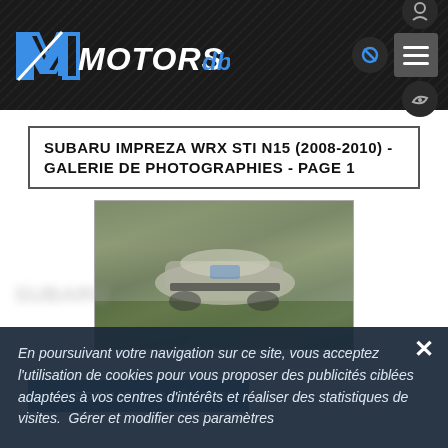MOTORSdb
SUBARU IMPREZA WRX STI N15 (2008-2010) - GALERIE DE PHOTOGRAPHIES - PAGE 1
[Figure (photo): Blurred/out-of-focus photo of a Subaru Impreza WRX STI N15 racing car on grass, colors blurred]
⚠ INFORMATIONS LÉGALES
En poursuivant votre navigation sur ce site, vous acceptez l'utilisation de cookies pour vous proposer des publicités ciblées adaptées à vos centres d'intérêts et réaliser des statistiques de visites. Gérer et modifier ces paramètres